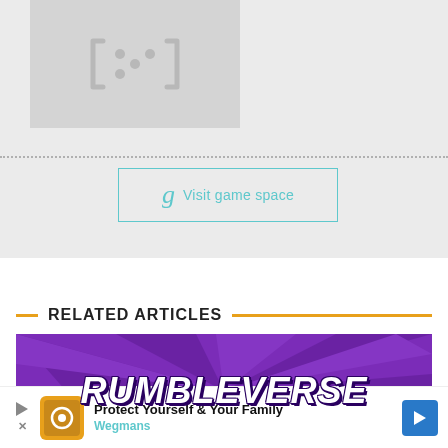[Figure (illustration): Placeholder image with controller/game icon on gray background]
Visit game space
RELATED ARTICLES
[Figure (illustration): Rumbleverse game promotional image with purple rays background and white bold italic text reading RUMBLEVERSE]
Protect Yourself & Your Family
Wegmans